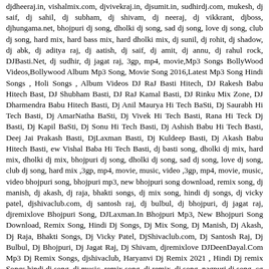djdheeraj.in, vishalmix.com, djvivekraj.in, djsumit.in, sudhirdj.com, mukesh, dj saif, dj sahil, dj subham, dj shivam, dj neeraj, dj vikkrant, djboss, djhungama.net, bhojpuri dj song, dholki dj song, sad dj song, love dj song, club dj song, hard mix, hard bass mix, hard dholki mix, dj sunil, dj rohit, dj shadow, dj abk, dj aditya raj, dj aatish, dj saif, dj amit, dj annu, dj rahul rock, DJBasti.Net, dj sudhir, dj jagat raj, 3gp, mp4, movie,Mp3 Songs BollyWood Videos,Bollywood Album Mp3 Song, Movie Song 2016,Latest Mp3 Song Hindi Songs , Holi Songs , Album Videos DJ RaJ Basti Hitech, DJ Rakesh Babu Hitech Bast, DJ Shubham Basti, DJ RaJ Kamal Basti, DJ Rinku Mix Zone, DJ Dharmendra Babu Hitech Basti, Dj Anil Maurya Hi Tech BaSti, Dj Saurabh Hi Tech Basti, Dj AmarNatha BaSti, Dj Vivek Hi Tech Basti, Rana Hi Teck Dj Basti, Dj Kapil BaSti, Dj Sonu Hi Tech Basti, Dj Ashish Babu Hi Tech Basti, Deej Jai Prakash Basti, DjLaxman Basti, Dj Kuldeep Basti, Dj Akash Babu Hitech Basti, ew Vishal Baba Hi Tech Basti, dj basti song, dholki dj mix, hard mix, dholki dj mix, bhojpuri dj song, dholki dj song, sad dj song, love dj song, club dj song, hard mix ,3gp, mp4, movie, music, video ,3gp, mp4, movie, music, video bhojpuri song, bhojpuri mp3, new bhojpuri song download, remix song, dj manish, dj akash, dj raja, bhakti songs, dj mix song, hindi dj songs, dj vicky patel, djshivaclub.com, dj santosh raj, dj bulbul, dj bhojpuri, dj jagat raj, djremixlove Bhojpuri Song, DJLaxman.In Bhojpuri Mp3, New Bhojpuri Song Download, Remix Song, Hindi Dj Songs, Dj Mix Song, Dj Manish, Dj Akash, Dj Raja, Bhakti Songs, Dj Vicky Patel, DjShivaclub.com, Dj Santosh Raj, Dj Bulbul, Dj Bhojpuri, Dj Jagat Raj, Dj Shivam, djremixlove DJDeenDayal.Com Mp3 Dj Remix Songs, djshivaclub, Haryanvi Dj Remix 2021 , Hindi Dj remix Songs,hindi dj song, dj music, remix song, dj remix, dj song, nagpuri dj song, cg dj song, marathi dj song, dj song 2021, dj competition vibration, dj hard vibration, dj full vibration, dj vibration speaker check, Dj Sunil SNK, Dj Abhay Aby, Dj Vikrant, Dj shiva Exclusive, Dj Nkm Dj Rbr Dj Esr 2021 Remix, Dj Vicky Patel, Dj Manish, Dj Shashi, Dj Sarzen, Dj Nkm, Dj Rachit Prayagraj, Dj Jagat Raj, Dj Abk, Dj Golubabu, Dj Dk Raja, Dj Ankit, Haryanvi Dj Remix 2021, Hindi Dj remix